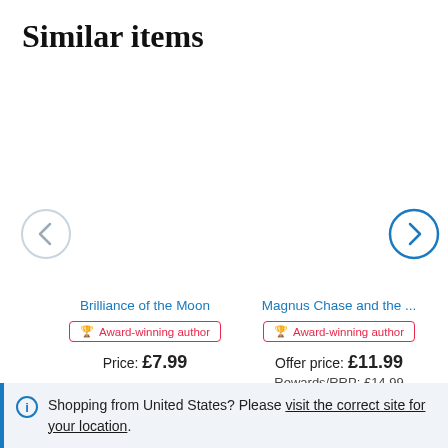Similar items
[Figure (other): Left navigation arrow button (light grey circle with < chevron) and right navigation arrow button (dark blue circle with > chevron) for a carousel of similar items]
Brilliance of the Moon
🏆 Award-winning author
Price: £7.99
Magnus Chase and the ...
🏆 Award-winning author
Offer price: £11.99
Rewards/RRP: £14.99
ℹ Shopping from United States? Please visit the correct site for your location.